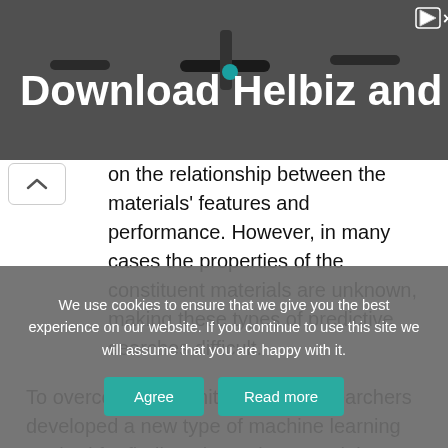[Figure (photo): Advertisement banner showing a scooter handlebar with text 'Download Helbiz and ride' on a dark background]
on the relationship between the materials' features and performance. However, in many cases the properties of the constituent materials are unknown, making these types of predictive searches difficult.
To overcome this limitation, the researchers developed a new type of machine learning method for finding alternative materials. A key advantage of the new method is that it can quantitatively evaluate the interactions among the component materials to reveal how much they contribute to the overall
We use cookies to ensure that we give you the best experience on our website. If you continue to use this site we will assume that you are happy with it.